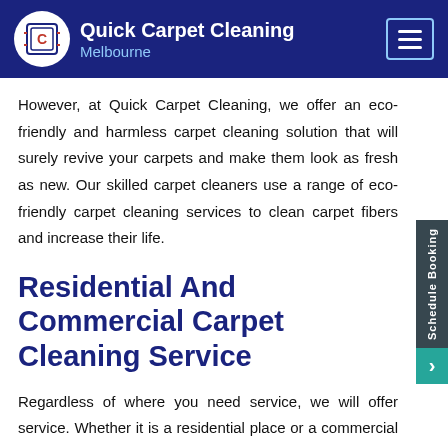Quick Carpet Cleaning Melbourne
However, at Quick Carpet Cleaning, we offer an eco-friendly and harmless carpet cleaning solution that will surely revive your carpets and make them look as fresh as new. Our skilled carpet cleaners use a range of eco-friendly carpet cleaning services to clean carpet fibers and increase their life.
Residential And Commercial Carpet Cleaning Service
Regardless of where you need service, we will offer service. Whether it is a residential place or a commercial place, we have been offering exceptional carpet cleaning service at both places for years. From dry carpet cleaning